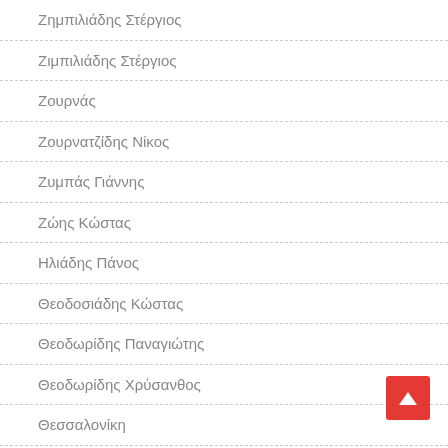Ζημπιλιάδης Στέργιος
Ζιμπιλιάδης Στέργιος
Ζουρνάς
Ζουρνατζίδης Νίκος
Ζυμπάς Γιάννης
Ζώης Κώστας
Ηλιάδης Πάνος
Θεοδοσιάδης Κώστας
Θεοδωρίδης Παναγιώτης
Θεοδωρίδης Χρύσανθος
Θεσσαλονίκη
Ιακωβίδης Θέμης
Ιακωβίδης Μίτκας